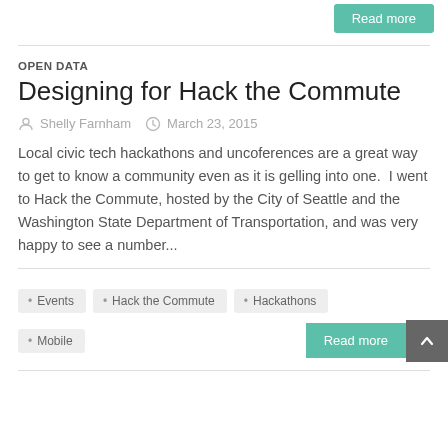Read more
OPEN DATA
Designing for Hack the Commute
Shelly Farnham   March 23, 2015
Local civic tech hackathons and uncoferences are a great way to get to know a community even as it is gelling into one.  I went to Hack the Commute, hosted by the City of Seattle and the Washington State Department of Transportation, and was very happy to see a number...
Events
Hack the Commute
Hackathons
Mobile
Read more